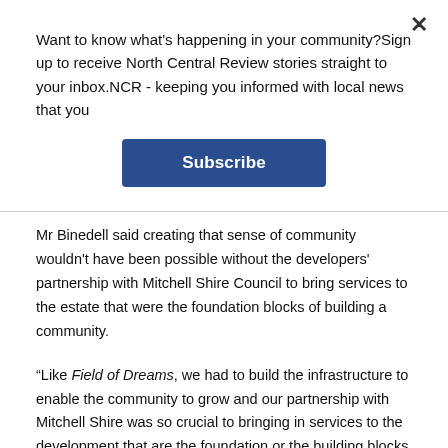Want to know what's happening in your community?Sign up to receive North Central Review stories straight to your inbox.NCR - keeping you informed with local news that you
[Figure (other): Subscribe button - blue rectangular button with white bold text reading 'Subscribe']
Mr Binedell said creating that sense of community wouldn't have been possible without the developers' partnership with Mitchell Shire Council to bring services to the estate that were the foundation blocks of building a community.
“Like Field of Dreams, we had to build the infrastructure to enable the community to grow and our partnership with Mitchell Shire was so crucial to bringing in services to the development that are the foundation or the building blocks for a community,” he said.